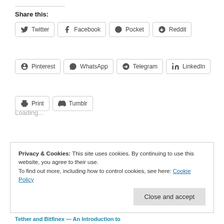Share this:
Twitter
Facebook
Pocket
Reddit
Pinterest
WhatsApp
Telegram
LinkedIn
Print
Tumblr
Loading...
Privacy & Cookies: This site uses cookies. By continuing to use this website, you agree to their use.
To find out more, including how to control cookies, see here: Cookie Policy
Close and accept
Tether and Bitfinex — An Introduction to